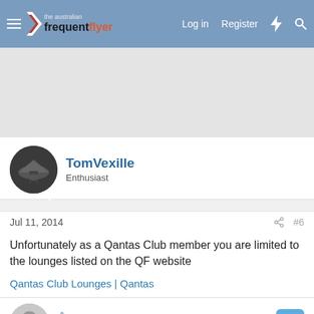The Australian Frequent Flyer — Log in | Register
[Figure (screenshot): Advertisement banner area (grey placeholder)]
TomVexille
Enthusiast
Jul 11, 2014  #6
Unfortunately as a Qantas Club member you are limited to the lounges listed on the QF website
Qantas Club Lounges | Qantas
Anna
Established Member